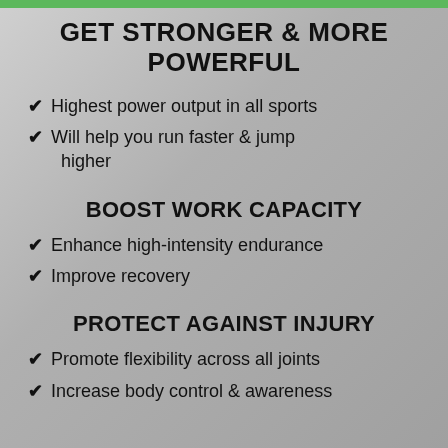GET STRONGER & MORE POWERFUL
Highest power output in all sports
Will help you run faster & jump higher
BOOST WORK CAPACITY
Enhance high-intensity endurance
Improve recovery
PROTECT AGAINST INJURY
Promote flexibility across all joints
Increase body control & awareness